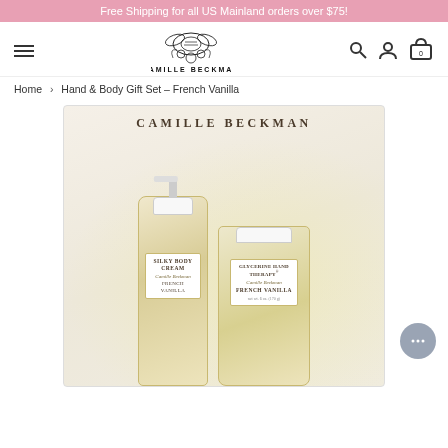Free Shipping for all US Mainland orders over $75!
[Figure (logo): Camille Beckman brand logo with decorative bee/floral illustration above the brand name]
Home > Hand & Body Gift Set – French Vanilla
[Figure (photo): Camille Beckman Hand & Body Gift Set French Vanilla product photo showing a tall Silky Body Cream pump bottle and a Glycerine Hand Therapy jar, both in cream/yellow packaging on a floral background, inside gift box packaging with 'CAMILLE BECKMAN' text at top]